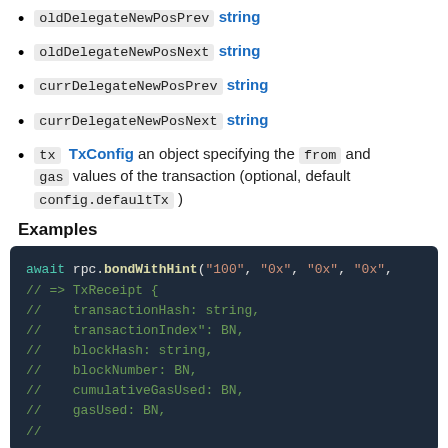oldDelegateNewPosPrev string
oldDelegateNewPosNext string
currDelegateNewPosPrev string
currDelegateNewPosNext string
tx TxConfig an object specifying the from and gas values of the transaction (optional, default config.defaultTx )
Examples
[Figure (screenshot): Code block showing: await rpc.bondWithHint("100", "0x", "0x", "0x", // => TxReceipt { // transactionHash: string, // transactionIndex": BN, // blockHash: string, // blockNumber: BN, // cumulativeGasUsed: BN, // gasUsed: BN, //]